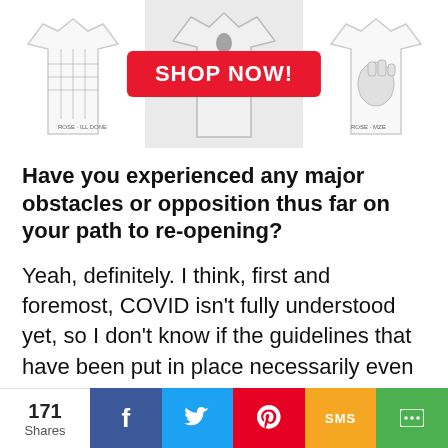[Figure (photo): Banner showing three t-shirts with a red SHOP NOW button in the center over the middle t-shirt image]
Have you experienced any major obstacles or opposition thus far on your path to re-opening?
Yeah, definitely. I think, first and foremost, COVID isn't fully understood yet, so I don't know if the guidelines that have been put in place necessarily even take into account the type of environment we're working in. For the most part, people have followed the rules. We've had no problems, they're very respectful and appreciative that they have a place where they can go. We do have some out of town visitors who come through every now and again, and maybe because
171 Shares | Facebook | Twitter | Pinterest | SMS | Share